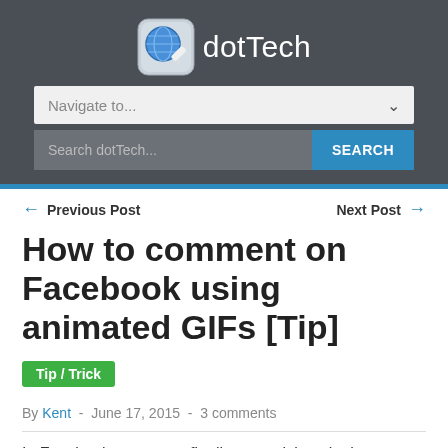[Figure (logo): dotTech logo with blue globe/tech icon and text 'dotTech' on dark gray header background]
Navigate to...
Search dotTech...  SEARCH
← Previous Post   Next Post →
How to comment on Facebook using animated GIFs [Tip]
Tip / Trick
By Kent - June 17, 2015 - 3 comments
In Facebook, users are finally post stickers in the comments. Aside from stickers, you can